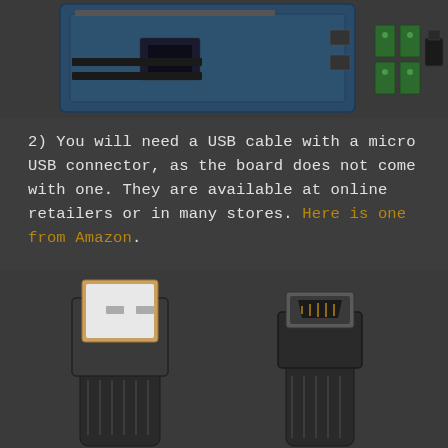[Figure (photo): Top portion showing an Arduino/microcontroller board, green terminal connectors, and a small black connector piece on dark background]
2) You will need a USB cable with a micro USB connector, as the board does not come with one. They are available at online retailers or in many stores. Here is one from Amazon.
[Figure (photo): Photo of a USB cable showing both the standard USB Type-A connector (left) and the micro USB connector (right) against a dark background]